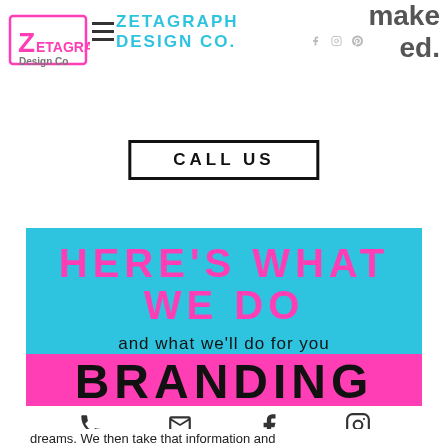[Figure (logo): Zetagraph Design Company logo - pink/cyan stylized text with decorative elements]
ZETAGRAPH DESIGN CO.
make ed.
CALL US
HERE'S WHAT WE DO
and what we'll do for you
BRANDING
dreams. We then take that information and